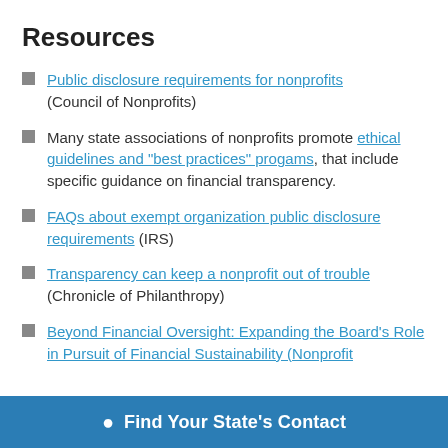Resources
Public disclosure requirements for nonprofits (Council of Nonprofits)
Many state associations of nonprofits promote ethical guidelines and "best practices" progams, that include specific guidance on financial transparency.
FAQs about exempt organization public disclosure requirements (IRS)
Transparency can keep a nonprofit out of trouble (Chronicle of Philanthropy)
Beyond Financial Oversight: Expanding the Board's Role in Pursuit of Financial Sustainability (Nonprofit
Find Your State's Contact